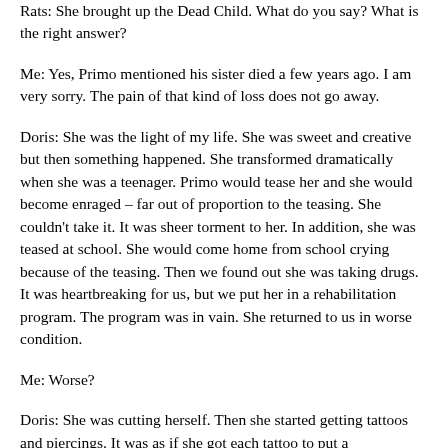Rats: She brought up the Dead Child. What do you say? What is the right answer?
Me: Yes, Primo mentioned his sister died a few years ago. I am very sorry. The pain of that kind of loss does not go away.
Doris: She was the light of my life. She was sweet and creative but then something happened. She transformed dramatically when she was a teenager. Primo would tease her and she would become enraged – far out of proportion to the teasing. She couldn't take it. It was sheer torment to her. In addition, she was teased at school. She would come home from school crying because of the teasing. Then we found out she was taking drugs. It was heartbreaking for us, but we put her in a rehabilitation program. The program was in vain. She returned to us in worse condition.
Me: Worse?
Doris: She was cutting herself. Then she started getting tattoos and piercings. It was as if she got each tattoo to put a